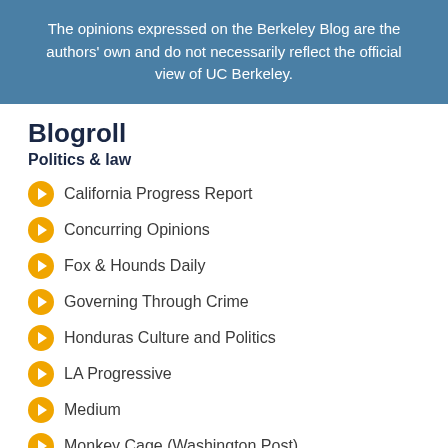The opinions expressed on the Berkeley Blog are the authors' own and do not necessarily reflect the official view of UC Berkeley.
Blogroll
Politics & law
California Progress Report
Concurring Opinions
Fox & Hounds Daily
Governing Through Crime
Honduras Culture and Politics
LA Progressive
Medium
Monkey Cage (Washington Post)